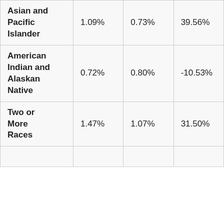| Asian and Pacific Islander | 1.09% | 0.73% | 39.56% |
| American Indian and Alaskan Native | 0.72% | 0.80% | -10.53% |
| Two or More Races | 1.47% | 1.07% | 31.50% |
|  |  |  |  |